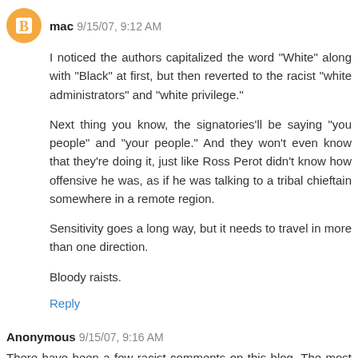[Figure (illustration): Orange circle avatar with blogger 'B' logo icon]
mac 9/15/07, 9:12 AM
I noticed the authors capitalized the word "White" along with "Black" at first, but then reverted to the racist "white administrators" and "white privilege."
Next thing you know, the signatories'll be saying "you people" and "your people." And they won't even know that they're doing it, just like Ross Perot didn't know how offensive he was, as if he was talking to a tribal chieftain somewhere in a remote region.
Sensitivity goes a long way, but it needs to travel in more than one direction.
Bloody raists.
Reply
Anonymous 9/15/07, 9:16 AM
There have been a few racist comments on this blog. The most memorable were those from members of the Durham